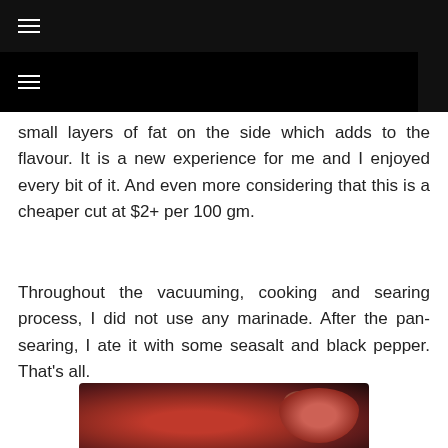small layers of fat on the side which adds to the flavour. It is a new experience for me and I enjoyed every bit of it. And even more considering that this is a cheaper cut at $2+ per 100 gm.
Throughout the vacuuming, cooking and searing process, I did not use any marinade. After the pan-searing, I ate it with some seasalt and black pepper. That's all.
[Figure (photo): Close-up photo of raw red meat cuts (likely beef) on a dark surface, showing two round/oval pieces with a glossy, moist appearance and slight marbling.]